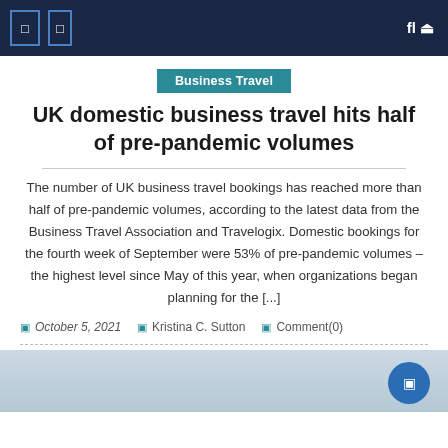Navigation bar with icons
Business Travel
UK domestic business travel hits half of pre-pandemic volumes
The number of UK business travel bookings has reached more than half of pre-pandemic volumes, according to the latest data from the Business Travel Association and Travelogix. Domestic bookings for the fourth week of September were 53% of pre-pandemic volumes – the highest level since May of this year, when organizations began planning for the [...]
October 5, 2021  Kristina C. Sutton  Comment(0)
[Figure (photo): Partial view of a light blue/grey image at the bottom of the page]